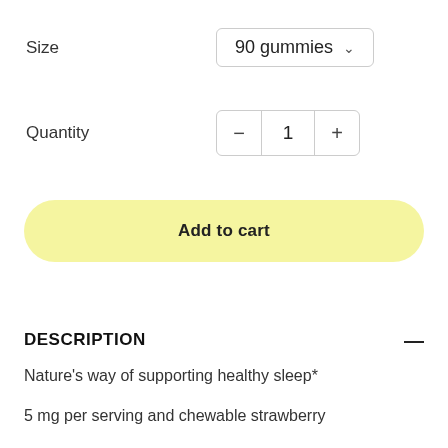Size
90 gummies
Quantity
− 1 +
Add to cart
DESCRIPTION
Nature's way of supporting healthy sleep*
5 mg per serving and chewable strawberry